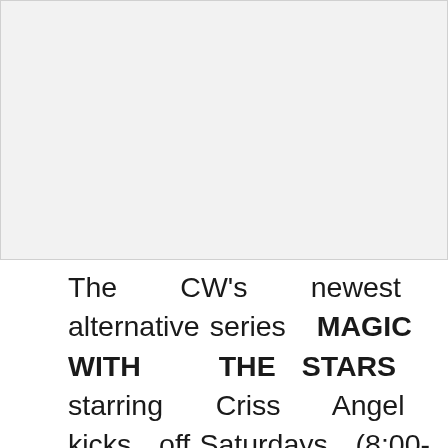[Figure (photo): Large image placeholder area at top of page, light gray background]
The CW's newest alternative series MAGIC WITH THE STARS starring Criss Angel kicks off Saturdays (8:00-9:00pm ET/PT), followed by new episodes of WORLD'S FUNNIEST ANIMALS (9:00-9:00pm ...